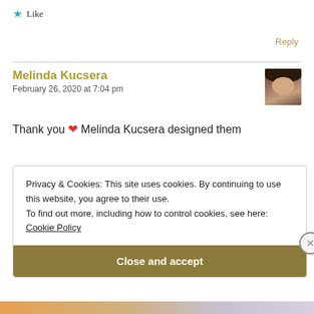★ Like
Reply
Melinda Kucsera
February 26, 2020 at 7:04 pm
Thank you ❤ Melinda Kucsera designed them
Privacy & Cookies: This site uses cookies. By continuing to use this website, you agree to their use.
To find out more, including how to control cookies, see here:
Cookie Policy
Close and accept